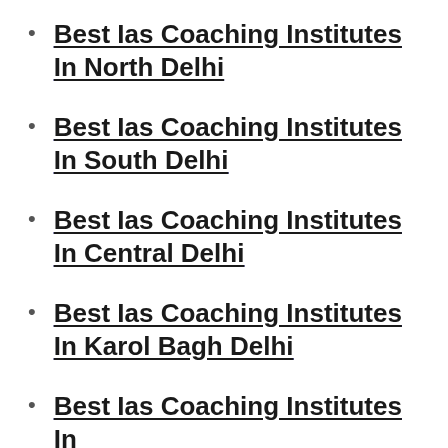Best Ias Coaching Institutes In North Delhi
Best Ias Coaching Institutes In South Delhi
Best Ias Coaching Institutes In Central Delhi
Best Ias Coaching Institutes In Karol Bagh Delhi
Best Ias Coaching Institutes In